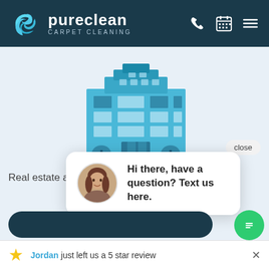[Figure (logo): Pureclean Carpet Cleaning logo with blue swirl icon and white text on dark teal header, with phone, calendar, and menu icons on the right]
[Figure (illustration): Blue flat-style illustration of a commercial office building]
Real estate a
close
[Figure (screenshot): Chat popup bubble with female avatar photo and message: Hi there, have a question? Text us here.]
Hi there, have a question? Text us here.
[Figure (illustration): Green circular chat button with message icon]
Jordan just left us a 5 star review